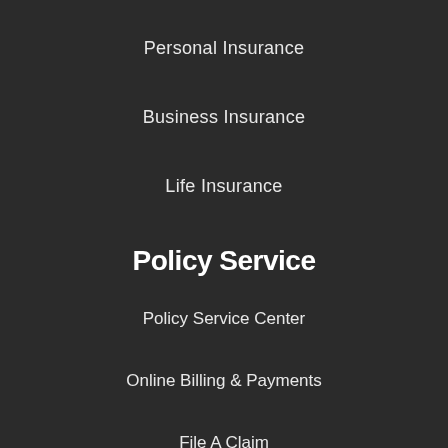Personal Insurance
Business Insurance
Life Insurance
Policy Service
Policy Service Center
Online Billing & Payments
File A Claim